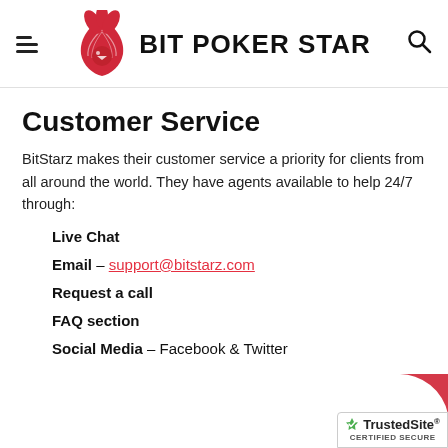BIT POKER STAR
Customer Service
BitStarz makes their customer service a priority for clients from all around the world. They have agents available to help 24/7 through:
Live Chat
Email – support@bitstarz.com
Request a call
FAQ section
Social Media – Facebook & Twitter